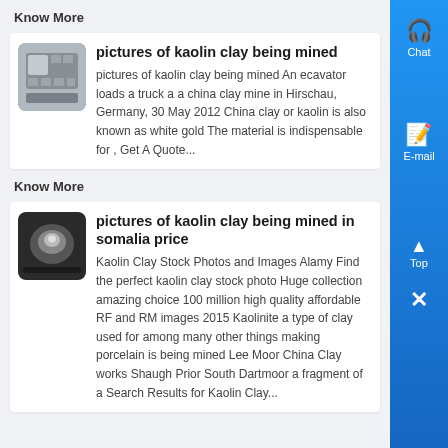Know More
pictures of kaolin clay being mined
pictures of kaolin clay being mined An ecavator loads a truck a a china clay mine in Hirschau, Germany, 30 May 2012 China clay or kaolin is also known as white gold The material is indispensable for , Get A Quote...
Know More
pictures of kaolin clay being mined in somalia price
Kaolin Clay Stock Photos and Images Alamy Find the perfect kaolin clay stock photo Huge collection amazing choice 100 million high quality affordable RF and RM images 2015 Kaolinite a type of clay used for among many other things making porcelain is being mined Lee Moor China Clay works Shaugh Prior South Dartmoor a fragment of a Search Results for Kaolin Clay...